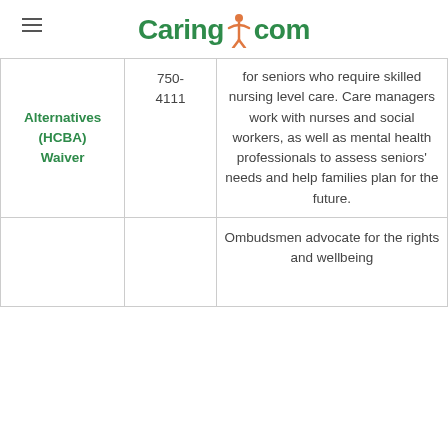Caring.com
| Program | Phone | Description |
| --- | --- | --- |
| Alternatives (HCBA) Waiver | 750-4111 | for seniors who require skilled nursing level care. Care managers work with nurses and social workers, as well as mental health professionals to assess seniors' needs and help families plan for the future. |
|  |  | Ombudsmen advocate for the rights and wellbeing |